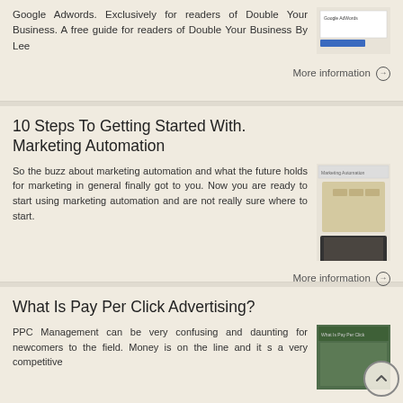Google Adwords. Exclusively for readers of Double Your Business. A free guide for readers of Double Your Business By Lee
More information →
10 Steps To Getting Started With. Marketing Automation
So the buzz about marketing automation and what the future holds for marketing in general finally got to you. Now you are ready to start using marketing automation and are not really sure where to start.
More information →
What Is Pay Per Click Advertising?
PPC Management can be very confusing and daunting for newcomers to the field. Money is on the line and it s a very competitive